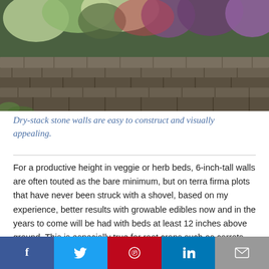[Figure (photo): A dry-stack stone retaining wall with various green and purple plants growing above it, set on a grass lawn.]
Dry-stack stone walls are easy to construct and visually appealing.
For a productive height in veggie or herb beds, 6-inch-tall walls are often touted as the bare minimum, but on terra firma plots that have never been struck with a shovel, based on my experience, better results with growable edibles now and in the years to come will be had with beds at least 12 inches above ground. This is especially true for root crops such as carrots, onions, radishes and turnips. Width matters as well — stretch the